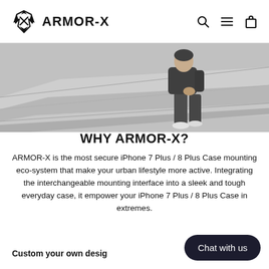ARMOR-X
[Figure (photo): Hero image of a person sitting on outdoor concrete stairs, wearing dark clothing and white shoes, photographed from above at an angle. Grayscale/muted tones.]
WHY ARMOR-X?
ARMOR-X is the most secure iPhone 7 Plus / 8 Plus Case mounting eco-system that make your urban lifestyle more active. Integrating the interchangeable mounting interface into a sleek and tough everyday case, it empower your iPhone 7 Plus / 8 Plus Case in extremes.
Custom your own desig